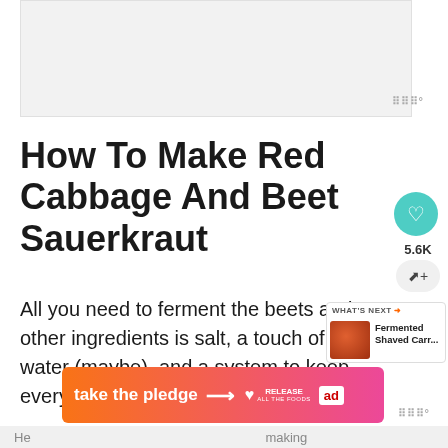[Figure (other): Top advertisement banner placeholder (light gray rectangle)]
How To Make Red Cabbage And Beet Sauerkraut
All you need to ferment the beets and other ingredients is salt, a touch of water (maybe), and a system to keep everything submerged in.
[Figure (other): What's Next promo box showing Fermented Shaved Carr... with a thumbnail image]
[Figure (other): Take the pledge advertisement banner with orange-pink gradient, arrow, Release logo, and ed badge]
He                                                                        making